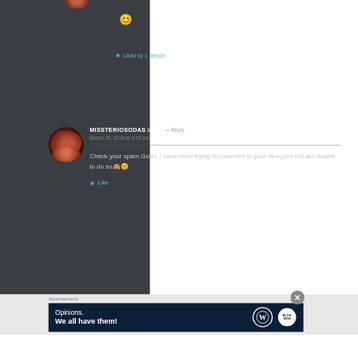[Figure (other): Emoji: kissing face (😊) in top area of comment]
★ Liked by 1 person
[Figure (photo): Circular avatar photo of user missteriosodas, a person covering face with hand]
MISSTERIOSODAS says: ↩ Reply
March 29, 2018 at 6:03 pm
Check your spam Graci. I have been trying to comment in your new post but am unable to do so 🙈😊
★ Like
Advertisements
[Figure (screenshot): WordPress advertisement banner: 'Opinions. We all have them!' with WordPress logo and brand logo on dark navy background]